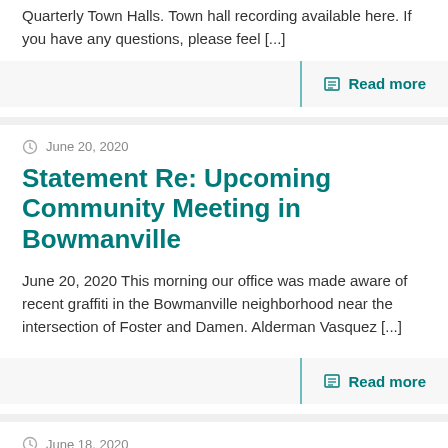Quarterly Town Halls. Town hall recording available here. If you have any questions, please feel [...]
Read more
June 20, 2020
Statement Re: Upcoming Community Meeting in Bowmanville
June 20, 2020 This morning our office was made aware of recent graffiti in the Bowmanville neighborhood near the intersection of Foster and Damen. Alderman Vasquez [...]
Read more
June 18, 2020